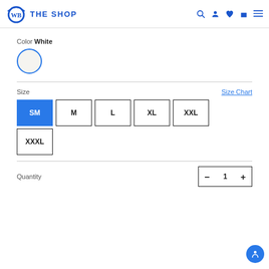WB THE SHOP
Color White
[Figure (illustration): White color swatch circle with blue border, selected state]
Size
Size Chart
SM (selected), M, L, XL, XXL, XXXL size buttons
Quantity
1